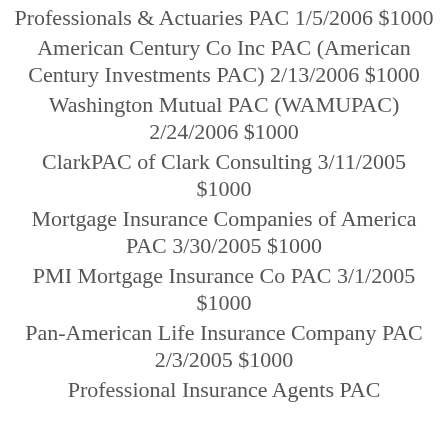Professionals & Actuaries PAC 1/5/2006 $1000
American Century Co Inc PAC (American Century Investments PAC) 2/13/2006 $1000
Washington Mutual PAC (WAMUPAC) 2/24/2006 $1000
ClarkPAC of Clark Consulting 3/11/2005 $1000
Mortgage Insurance Companies of America PAC 3/30/2005 $1000
PMI Mortgage Insurance Co PAC 3/1/2005 $1000
Pan-American Life Insurance Company PAC 2/3/2005 $1000
Professional Insurance Agents PAC